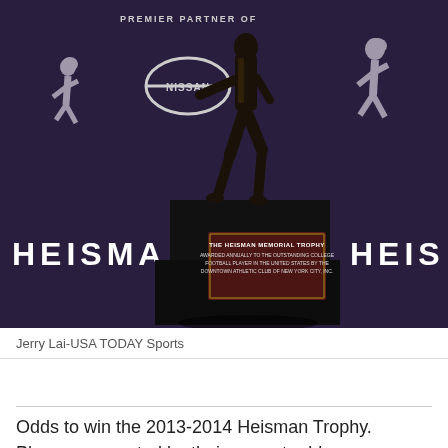[Figure (photo): Photo of the Heisman Memorial Trophy on a black pedestal with a dark purple background showing the Heisman and Nissan logos, with white silhouette running back figures on either side. The trophy's base has a dark red plaque with white text.]
Jerry Lai-USA TODAY Sports
Odds to win the 2013-2014 Heisman Trophy. Players are sorted by their current odds.